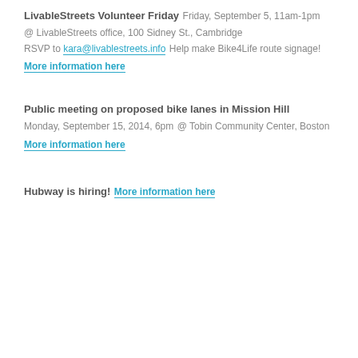LivableStreets Volunteer Friday
Friday, September 5, 11am-1pm
@ LivableStreets office, 100 Sidney St., Cambridge
RSVP to kara@livablestreets.info
Help make Bike4Life route signage!
More information here
Public meeting on proposed bike lanes in Mission Hill
Monday, September 15, 2014, 6pm
@ Tobin Community Center, Boston
More information here
Hubway is hiring!
More information here